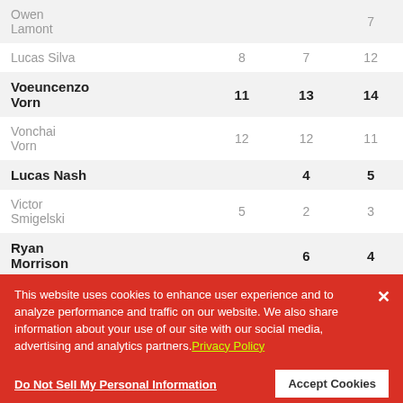| Owen Lamont |  |  | 7 |
| Lucas Silva | 8 | 7 | 12 |
| Voeuncenzo Vorn | 11 | 13 | 14 |
| Vonchai Vorn | 12 | 12 | 11 |
| Lucas Nash |  | 4 | 5 |
| Victor Smigelski | 5 | 2 | 3 | 9 |
| Ryan Morrison |  | 6 | 4 |
| Thomas |  |  |  |
This website uses cookies to enhance user experience and to analyze performance and traffic on our website. We also share information about your use of our site with our social media, advertising and analytics partners. Privacy Policy
Do Not Sell My Personal Information
Accept Cookies